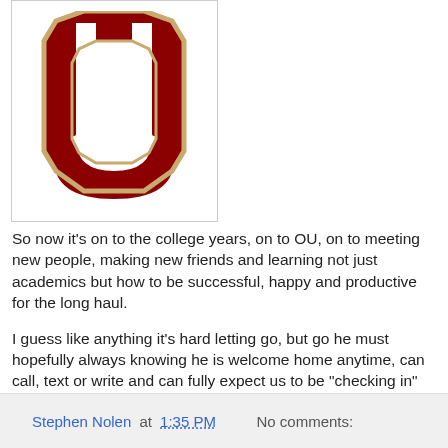[Figure (logo): University of Oklahoma (OU) crimson interlocking OU logo with cream/gold outline, on white background, inside a light-bordered box]
So now it's on to the college years, on to OU, on to meeting new people, making new friends and learning not just academics but how to be successful, happy and productive for the long haul.
I guess like anything it's hard letting go, but go he must hopefully always knowing he is welcome home anytime, can call, text or write and can fully expect us to be "checking in" with him more likely more often than he even desires.
Love you Austin and best wishes for your new world!
Dad
Stephen Nolen at 1:35 PM   No comments: